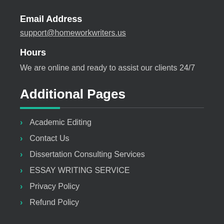Email Address
support@homeworkwriters.us
Hours
We are online and ready to assist our clients 24/7
Additional Pages
Academic Editing
Contact Us
Dissertation Consulting Services
ESSAY WRITING SERVICE
Privacy Policy
Refund Policy